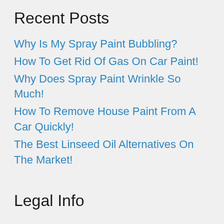Recent Posts
Why Is My Spray Paint Bubbling?
How To Get Rid Of Gas On Car Paint!
Why Does Spray Paint Wrinkle So Much!
How To Remove House Paint From A Car Quickly!
The Best Linseed Oil Alternatives On The Market!
Legal Info